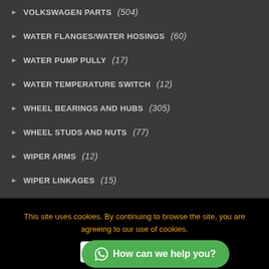VOLKSWAGEN PARTS (504)
WATER FLANGES/WATER HOSINGS (60)
WATER PUMP PULLY (17)
WATER TEMPERATURE SWITCH (12)
WHEEL BEARINGS AND HUBS (305)
WHEEL STUDS AND NUTS (77)
WIPER ARMS (12)
WIPER LINKAGES (15)
WIPER MOTOR (41)
WIPER MOTORS (9)
wWINDSCREEN WASHER PUMPS (128)
This site uses cookies. By continuing to browse the site, you are agreeing to our use of cookies.
Accept | How can we help you?